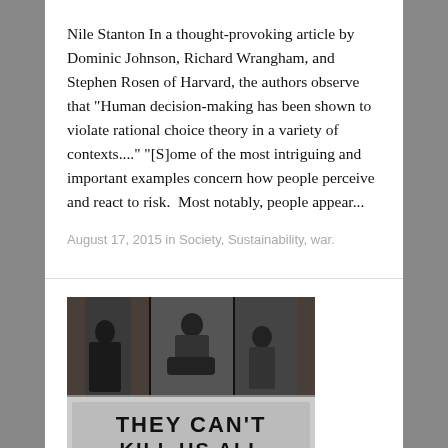Nile Stanton In a thought-provoking article by Dominic Johnson, Richard Wrangham, and Stephen Rosen of Harvard, the authors observe that "Human decision-making has been shown to violate rational choice theory in a variety of contexts...." "[S]ome of the most intriguing and important examples concern how people perceive and react to risk.  Most notably, people appear...
August 17, 2015 in Society, Sustainability, war.
[Figure (photo): Black and white photograph showing people sitting in windows of a brick building, with a large banner below reading 'THEY CAN'T KILL US ALL']